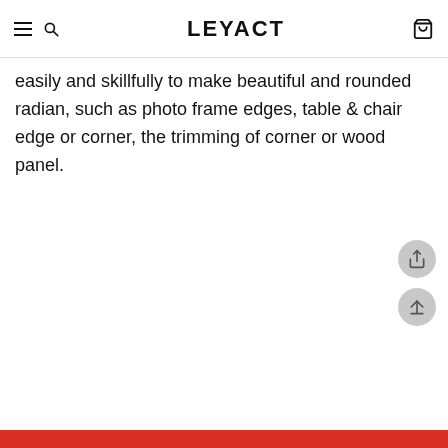LEYACT
easily and skillfully to make beautiful and rounded radian, such as photo frame edges, table & chair edge or corner, the trimming of corner or wood panel.